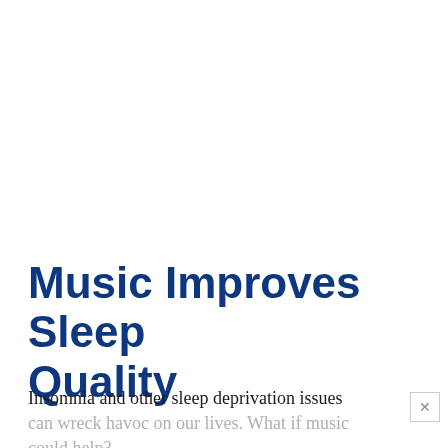Music Improves Sleep Quality
Insomnia and other sleep deprivation issues can wreck havoc on our lives. What if music could help?